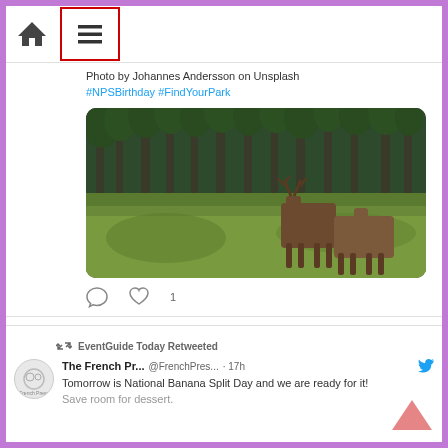[Figure (screenshot): Mobile browser navigation bar with home icon and hamburger menu icon highlighted with red border]
Photo by Johannes Andersson on Unsplash
#NPSBirthday #FindYourPark
[Figure (photo): Two deer/elk standing in tall green grass meadow with dense conifer forest in background]
[Figure (infographic): Comment and like icons with count of 1]
EventGuide Today Retweeted
The French Pr... @FrenchPres... · 17h
Tomorrow is National Banana Split Day and we are ready for it!
Save room for dessert.